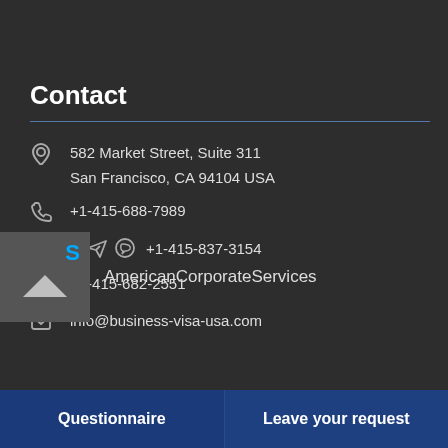Contact
582 Market Street, Suite 311
San Francisco, CA 94104 USA
+1-415-688-7989
+1-415-837-3154
+1-415-682-2551
info@business-visa-usa.com
AmericanCorporateServices
Questionnaire
Leave your request